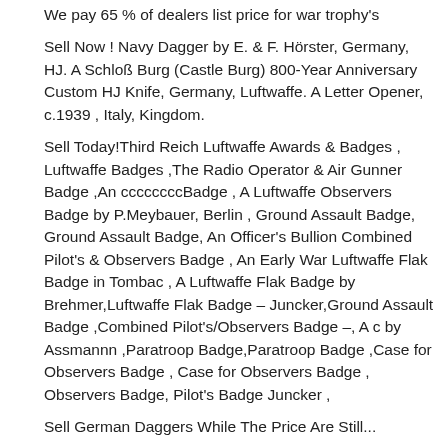We pay 65 % of dealers list price for war trophy's
Sell Now ! Navy Dagger by E. & F. Hörster, Germany, HJ. A Schloß Burg (Castle Burg) 800-Year Anniversary Custom HJ Knife, Germany, Luftwaffe. A Letter Opener, c.1939 , Italy, Kingdom.
Sell Today!Third Reich Luftwaffe Awards & Badges , Luftwaffe Badges ,The Radio Operator & Air Gunner Badge ,An ccccccccBadge , A Luftwaffe Observers Badge by P.Meybauer, Berlin , Ground Assault Badge, Ground Assault Badge, An Officer's Bullion Combined Pilot's & Observers Badge , An Early War Luftwaffe Flak Badge in Tombac , A Luftwaffe Flak Badge by Brehmer,Luftwaffe Flak Badge – Juncker,Ground Assault Badge ,Combined Pilot's/Observers Badge –, A c by Assmannn ,Paratroop Badge,Paratroop Badge ,Case for Observers Badge , Case for Observers Badge , Observers Badge, Pilot's Badge Juncker ,
Sell German Daggers While The Price Are Still...